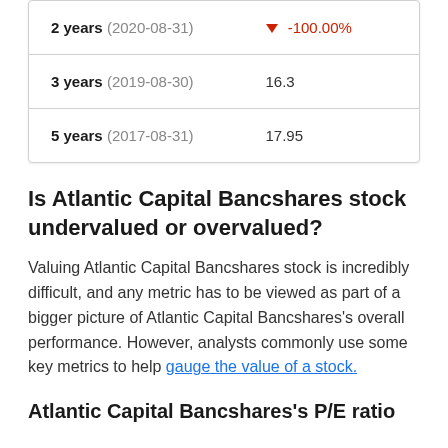| Period | Value |
| --- | --- |
| 2 years (2020-08-31) | -100.00% |
| 3 years (2019-08-30) | 16.3 |
| 5 years (2017-08-31) | 17.95 |
Is Atlantic Capital Bancshares stock undervalued or overvalued?
Valuing Atlantic Capital Bancshares stock is incredibly difficult, and any metric has to be viewed as part of a bigger picture of Atlantic Capital Bancshares's overall performance. However, analysts commonly use some key metrics to help gauge the value of a stock.
Atlantic Capital Bancshares's P/E ratio